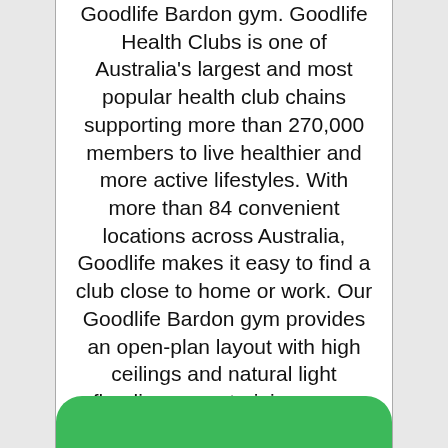Goodlife Bardon gym. Goodlife Health Clubs is one of Australia's largest and most popular health club chains supporting more than 270,000 members to live healthier and more active lifestyles. With more than 84 convenient locations across Australia, Goodlife makes it easy to find a club close to home or work. Our Goodlife Bardon gym provides an open-plan layout with high ceilings and natural light flooding every training zone. The Goodlife Bardon gym includes: - State of the art cardio and strength facilities - Dedicated Group Fitness and Cycle studio - Bardon
[Figure (other): Green rounded button labeled 'View Prices']
[Figure (other): Green bar/button at bottom of page, partially visible]